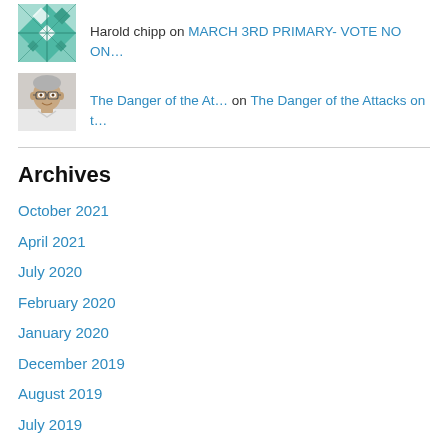Harold chipp on MARCH 3RD PRIMARY- VOTE NO ON…
The Danger of the At… on The Danger of the Attacks on t…
Archives
October 2021
April 2021
July 2020
February 2020
January 2020
December 2019
August 2019
July 2019
June 2019
March 2019